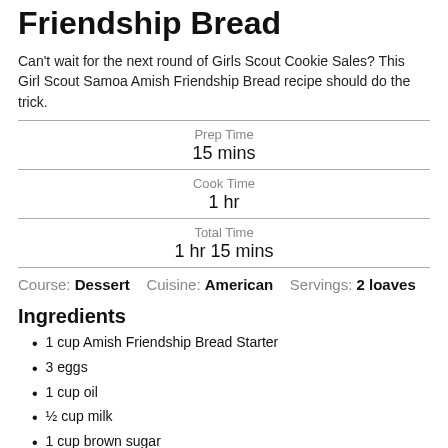Friendship Bread
Can't wait for the next round of Girls Scout Cookie Sales? This Girl Scout Samoa Amish Friendship Bread recipe should do the trick.
Prep Time: 15 mins
Cook Time: 1 hr
Total Time: 1 hr 15 mins
Course: Dessert   Cuisine: American   Servings: 2 loaves
Ingredients
1 cup Amish Friendship Bread Starter
3 eggs
1 cup oil
½ cup milk
1 cup brown sugar
1 teaspoons vanilla